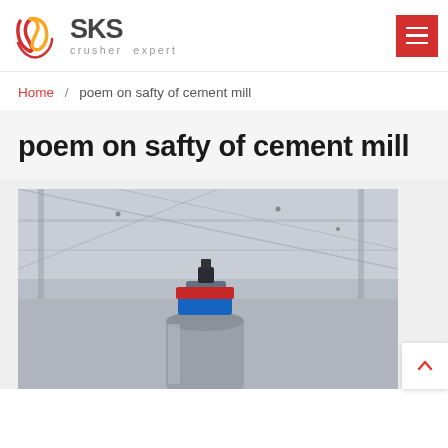SKS crusher expert
Home / poem on safty of cement mill
poem on safty of cement mill
[Figure (photo): Industrial cement mill crusher equipment photographed from below inside a factory, showing a cylindrical vessel with colored connectors and a sensor on top, industrial ceiling structure visible in background]